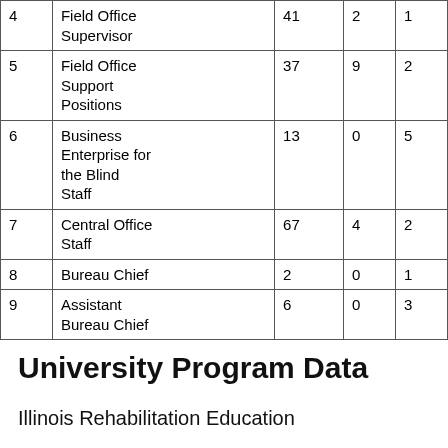| # | Position | Col3 | Col4 | Col5 |
| --- | --- | --- | --- | --- |
| 4 | Field Office Supervisor | 41 | 2 | 1 |
| 5 | Field Office Support Positions | 37 | 9 | 2 |
| 6 | Business Enterprise for the Blind Staff | 13 | 0 | 5 |
| 7 | Central Office Staff | 67 | 4 | 2 |
| 8 | Bureau Chief | 2 | 0 | 1 |
| 9 | Assistant Bureau Chief | 6 | 0 | 3 |
University Program Data
Illinois Rehabilitation Education